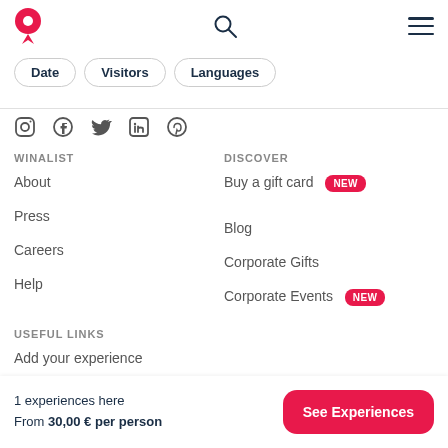Winalist logo, search icon, hamburger menu
Date
Visitors
Languages
[Figure (illustration): Social media icons: Instagram, Facebook, Twitter, LinkedIn, Pinterest]
WINALIST
About
Press
Careers
Help
DISCOVER
Buy a gift card NEW
Blog
Corporate Gifts
Corporate Events NEW
USEFUL LINKS
Add your experience
1 experiences here
From 30,00 € per person
See Experiences